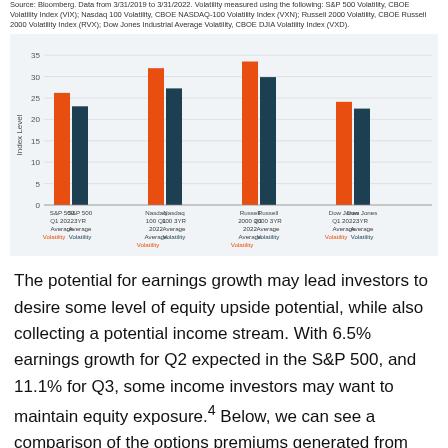Source: Bloomberg. Data from 3/31/2019 to 3/31/2022. Volatility measured using the following: S&P 500 Volatility, CBOE Volatility Index (VIX); Nasdaq 100 Volatility, CBOE NASDAQ-100 Volatility Index (VXN); Russell 2000 Volatility, CBOE Russell 2000 Volatility Index (RVX); Dow Jones Industrial Average Volatility, CBOE DJIA Volatility Index (VXD).
[Figure (grouped-bar-chart): ]
The potential for earnings growth may lead investors to desire some level of equity upside potential, while also collecting a potential income stream. With 6.5% earnings growth for Q2 expected in the S&P 500, and 11.1% for Q3, some income investors may want to maintain equity exposure.4 Below, we can see a comparison of the options premiums generated from writing covered calls both at the money with 100%